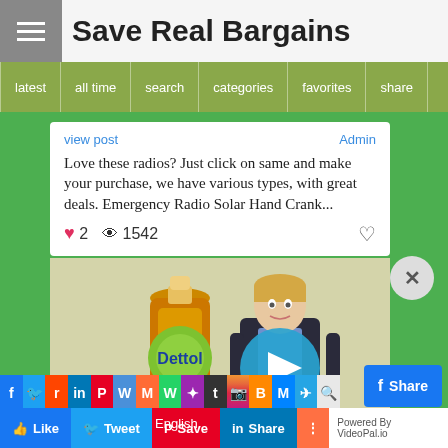Save Real Bargains
latest | all time | search | categories | favorites | share
view post   Admin
Love these radios? Just click on same and make your purchase, we have various types, with great deals. Emergency Radio Solar Hand Crank...
♥ 2  👁 1542
[Figure (illustration): Screenshot of a website post card with a Dettol bottle product image, an animated female avatar/character, and a video play button overlay. Below are social sharing icons and action buttons (Like, Tweet, Save, Share).]
Powered By VideoPal.io